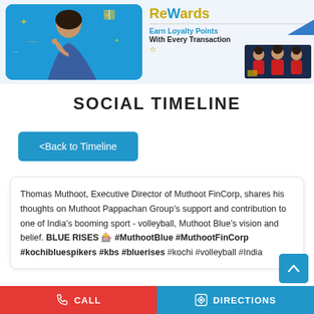[Figure (screenshot): Blue promotional banner on the left showing a woman in Indian attire pointing upward on a blue background with decorative elements. Right side shows 'ReWards' text in gold/blue with 'Earn Loyalty Points' and 'With Every Transaction' text, a blue arrow graphic, and three cricket players at the bottom.]
SOCIAL TIMELINE
<Back to Timeline
Thomas Muthoot, Executive Director of Muthoot FinCorp, shares his thoughts on Muthoot Pappachan Group's support and contribution to one of India's booming sport - volleyball, Muthoot Blue's vision and belief. BLUE RISES 🏐 #MuthootBlue #MuthootFinCorp #kochibluespikers #kbs #bluerises #kochi #volleyball #India
CALL    DIRECTIONS